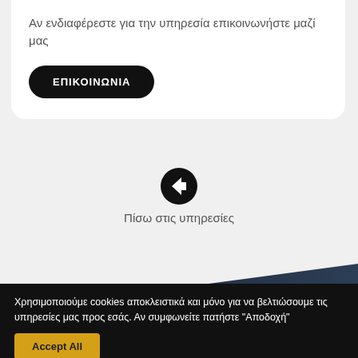Αν ενδιαφέρεστε για την υπηρεσία επικοινωνήστε μαζί μας
ΕΠΙΚΟΙΝΩΝΙΑ
[Figure (illustration): Back arrow icon (left-pointing arrow in a black circle)]
Πίσω στις υπηρεσίες
[Figure (illustration): Diagonal dark gradient band separating white section from dark footer]
Χρησιμοποιούμε cookies αποκλειστικά και μόνο για να βελτιώσουμε τις υπηρεσίες μας προς εσάς. Αν συμφωνείτε πατήστε "Αποδοχή"
Accept All